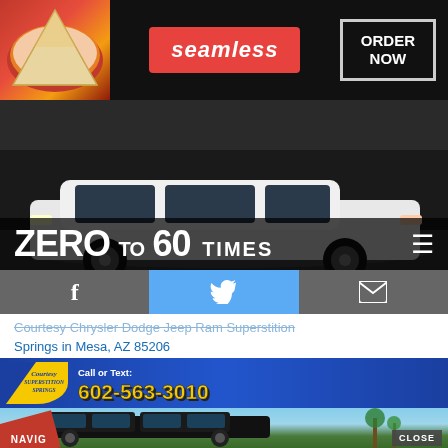[Figure (screenshot): Seamless food delivery advertisement banner with pizza image, Seamless logo in red, and ORDER NOW button]
[Figure (photo): White car photographed from the side against dark background — Zero to 60 Times website hero banner]
ZERO to 60 TIMES
[Figure (screenshot): Social media share bar showing Facebook, Twitter, and email/envelope icons on dark grey/blue background]
Courtesy Chrysler Dodge Jeep Ram Superstition Springs in Mesa, AZ 85206
[Figure (photo): Car dealership advertisement for Courtesy Superstition Springs showing a black Jeep Wrangler in a parking lot. Banner says Call or Text: 602-563-3010. NAVIG label in corner. CLOSE button visible. MAC cosmetics ad at bottom with lipsticks and SHOP NOW button.]